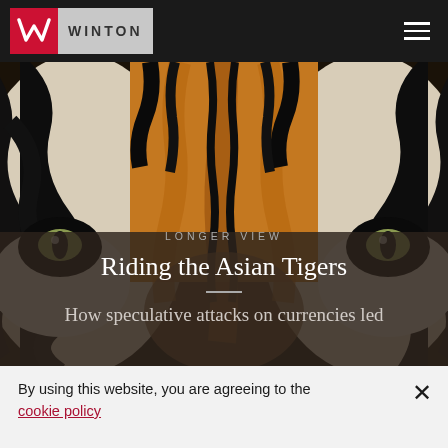WINTON
[Figure (photo): Close-up photo of a tiger's face showing orange and black striped fur, eyes visible on the sides, dark background. Used as hero image for the article 'Riding the Asian Tigers'.]
LONGER VIEW
Riding the Asian Tigers
How speculative attacks on currencies led
By using this website, you are agreeing to the cookie policy